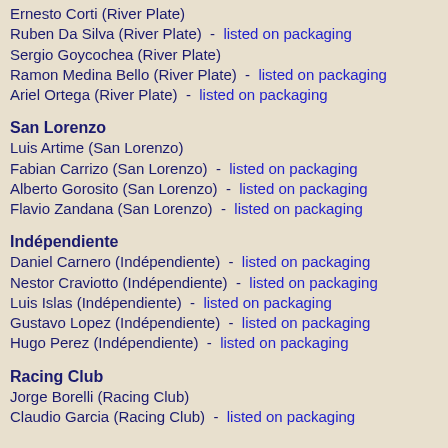Ernesto Corti (River Plate)
Ruben Da Silva (River Plate)  -  listed on packaging
Sergio Goycochea (River Plate)
Ramon Medina Bello (River Plate)  -  listed on packaging
Ariel Ortega (River Plate)  -  listed on packaging
San Lorenzo
Luis Artime (San Lorenzo)
Fabian Carrizo (San Lorenzo)  -  listed on packaging
Alberto Gorosito (San Lorenzo)  -  listed on packaging
Flavio Zandana (San Lorenzo)  -  listed on packaging
Indépendiente
Daniel Carnero (Indépendiente)  -  listed on packaging
Nestor Craviotto (Indépendiente)  -  listed on packaging
Luis Islas (Indépendiente)  -  listed on packaging
Gustavo Lopez (Indépendiente)  -  listed on packaging
Hugo Perez (Indépendiente)  -  listed on packaging
Racing Club
Jorge Borelli (Racing Club)
Claudio Garcia (Racing Club)  -  listed on packaging